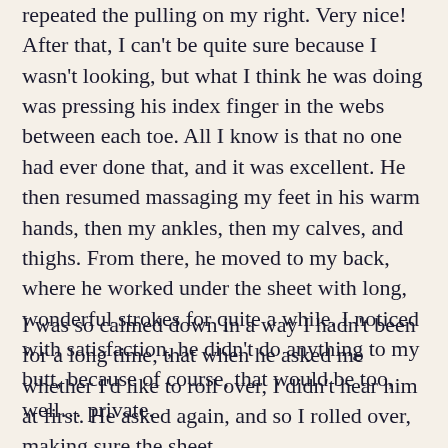repeated the pulling on my right. Very nice! After that, I can't be quite sure because I wasn't looking, but what I think he was doing was pressing his index finger in the webs between each toe. All I know is that no one had ever done that, and it was excellent. He then resumed massaging my feet in his warm hands, then my ankles, then my calves, and thighs. From there, he moved to my back, where he worked under the sheet with long, wonderful strokes for quite a while. I noticed with satisfaction, he didn't do anything to my butt, because of course, that would be too, well… private.
I was so calmed down in a way I hadn't been for a long time, that when he asked me whether I'd like to roll over, I didn't hear him at first. He asked again, and so I rolled over, making sure the sheet